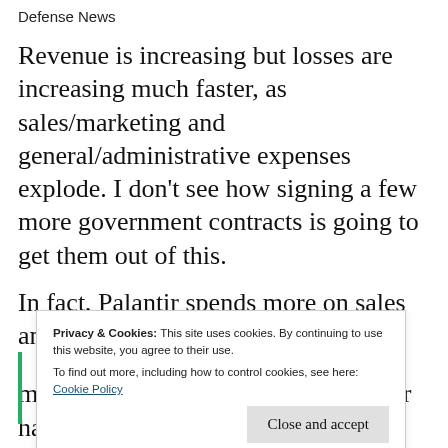Defense News
Revenue is increasing but losses are increasing much faster, as sales/marketing and general/administrative expenses explode. I don't see how signing a few more government contracts is going to get them out of this.
In fact, Palantir spends more on sales and
Privacy & Cookies: This site uses cookies. By continuing to use this website, you agree to their use. To find out more, including how to control cookies, see here: Cookie Policy
marketing expenses are massive, over half a